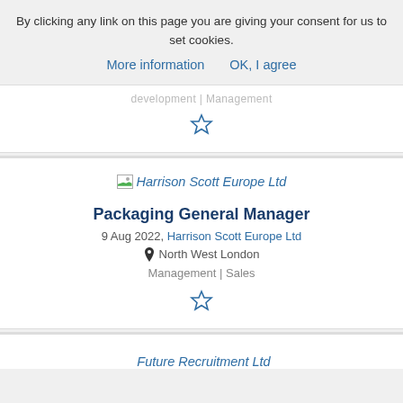By clicking any link on this page you are giving your consent for us to set cookies. More information  OK, I agree
development | Management
[Figure (other): Star/bookmark icon (outline star)]
[Figure (other): Harrison Scott Europe Ltd company logo placeholder]
Packaging General Manager
9 Aug 2022, Harrison Scott Europe Ltd
North West London
Management | Sales
[Figure (other): Star/bookmark icon (outline star)]
[Figure (other): Future Recruitment Ltd company logo placeholder]